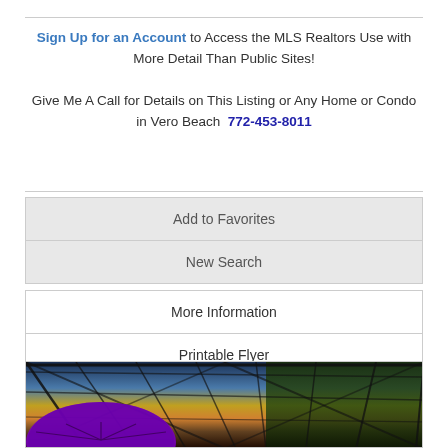Sign Up for an Account to Access the MLS Realtors Use with More Detail Than Public Sites!
Give Me A Call for Details on This Listing or Any Home or Condo in Vero Beach  772-453-8011
Add to Favorites
New Search
More Information
Printable Flyer
[Figure (photo): Outdoor screened enclosure patio with a screened pool cage structure against a sunset sky, purple umbrella at bottom left, trees visible on the right side.]